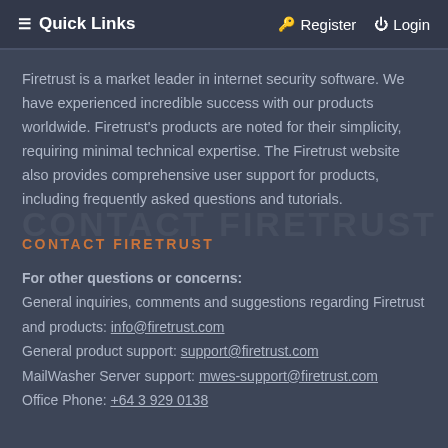≡ Quick Links    🔑 Register   ⏻ Login
Firetrust is a market leader in internet security software. We have experienced incredible success with our products worldwide. Firetrust's products are noted for their simplicity, requiring minimal technical expertise. The Firetrust website also provides comprehensive user support for products, including frequently asked questions and tutorials.
CONTACT FIRETRUST
For other questions or concerns:
General inquiries, comments and suggestions regarding Firetrust and products: info@firetrust.com
General product support: support@firetrust.com
MailWasher Server support: mwes-support@firetrust.com
Office Phone: +64 3 929 0138